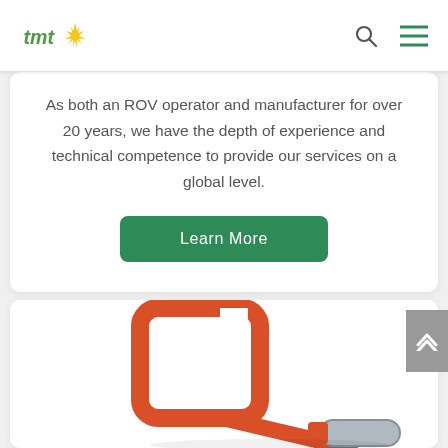tmt logo, search icon, menu icon
As both an ROV operator and manufacturer for over 20 years, we have the depth of experience and technical competence to provide our services on a global level.
Learn More
[Figure (photo): Orange/red colored ROV tool handle or torque tool with a square frame head and a cylindrical metal shaft with a red grip, photographed on white background]